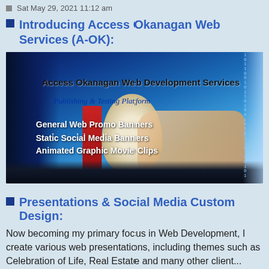Sat May 29, 2021 11:12 am
Introducing Access Okanagan Web Services (A-OK):
[Figure (photo): Access Okanagan Web Development Services banner image showing 'Publishing & Testing Platform' subtitle and listing services: General Web Promo Banners, Static Social Media Banners, Animated Graphic Movie Clips, with a blue tech background featuring a hand on a keyboard and a scroll graphic.]
Presentations & Social Media Custom Design:
Now becoming my primary focus in Web Development, I create various web presentations, including themes such as Celebration of Life, Real Estate and many other client...